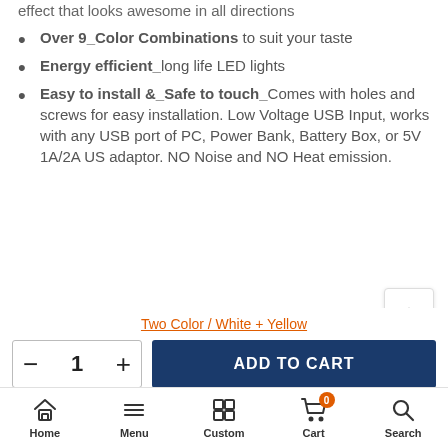effect that looks awesome in all directions
Over 9_Color Combinations to suit your taste
Energy efficient_long life LED lights
Easy to install &_Safe to touch_Comes with holes and screws for easy installation. Low Voltage USB Input, works with any USB port of PC, Power Bank, Battery Box, or 5V 1A/2A US adaptor. NO Noise and NO Heat emission.
Two Color / White + Yellow
ADD TO CART
Home  Menu  Custom  Cart  Search